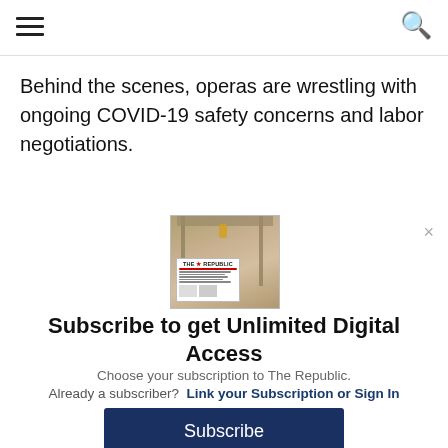≡  [navigation]  🔍
Behind the scenes, operas are wrestling with ongoing COVID-19 safety concerns and labor negotiations.
[Figure (illustration): Subscription prompt panel with newspaper image showing a porch scene and 'THE REPUBLIC' masthead]
Subscribe to get Unlimited Digital Access
Choose your subscription to The Republic.
Already a subscriber?  Link your Subscription or Sign In
Subscribe